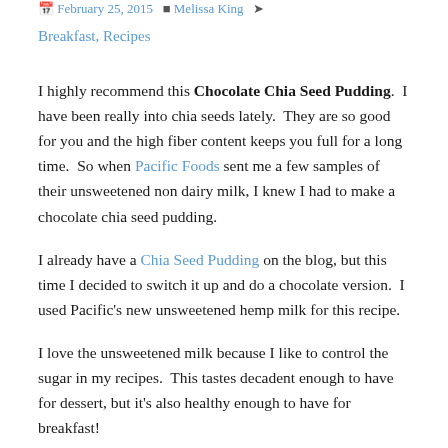February 25, 2015  Melissa King  Breakfast, Recipes
I highly recommend this Chocolate Chia Seed Pudding.  I have been really into chia seeds lately.  They are so good for you and the high fiber content keeps you full for a long time.  So when Pacific Foods sent me a few samples of their unsweetened non dairy milk, I knew I had to make a chocolate chia seed pudding.
I already have a Chia Seed Pudding on the blog, but this time I decided to switch it up and do a chocolate version.  I used Pacific's new unsweetened hemp milk for this recipe.
I love the unsweetened milk because I like to control the sugar in my recipes.  This tastes decadent enough to have for dessert, but it's also healthy enough to have for breakfast!